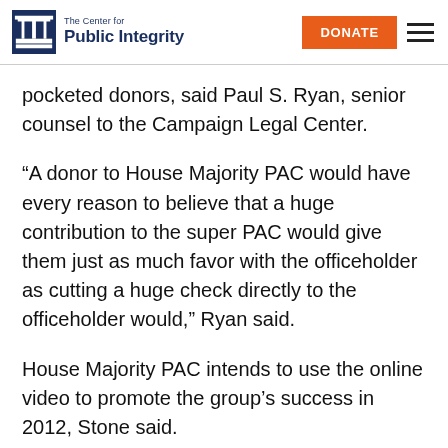The Center for Public Integrity | DONATE
pocketed donors, said Paul S. Ryan, senior counsel to the Campaign Legal Center.
“A donor to House Majority PAC would have every reason to believe that a huge contribution to the super PAC would give them just as much favor with the officeholder as cutting a huge check directly to the officeholder would,” Ryan said.
House Majority PAC intends to use the online video to promote the group’s success in 2012, Stone said.